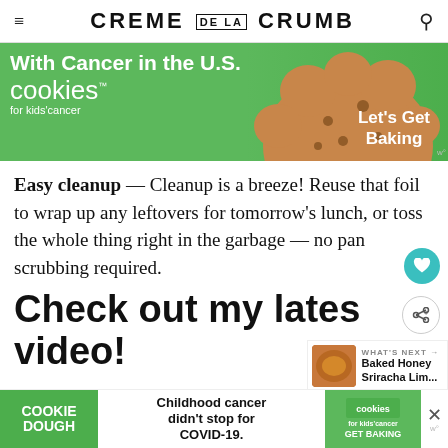CREME DE LA CRUMB
[Figure (photo): Advertisement banner for Cookies for Kids' Cancer. Green background with white text 'With Cancer in the U.S.' and 'cookies for kids' cancer' with a cookie image and 'Let's Get Baking' call to action.]
Easy cleanup — Cleanup is a breeze! Reuse that foil to wrap up any leftovers for tomorrow's lunch, or toss the whole thing right in the garbage — no pan scrubbing required.
Check out my latest video!
[Figure (screenshot): What's Next callout showing a food photo and text 'Baked Honey Sriracha Lim...']
[Figure (photo): Bottom advertisement banner: COOKIE DOUGH / Childhood cancer didn't stop for COVID-19. / cookies for kids cancer GET BAKING]